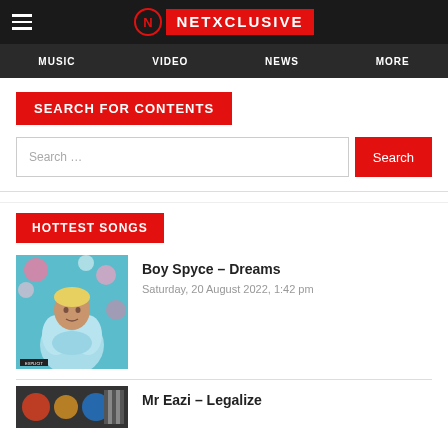NETXCLUSIVE
MUSIC  VIDEO  NEWS  MORE
SEARCH FOR CONTENTS
Search ...
HOTTEST SONGS
[Figure (photo): Album cover for Boy Spyce – Dreams showing a person in a light blue fluffy jacket with flowers in the background]
Boy Spyce – Dreams
Saturday, 20 August 2022, 1:42 pm
[Figure (photo): Partial album cover for Mr Eazi – Legalize]
Mr Eazi – Legalize